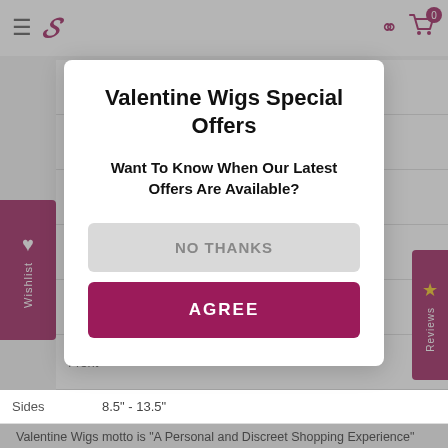Valentine Wigs navigation header with hamburger menu, logo, wishlist, heart, and cart (0 items)
Valentine Wigs Special Offers
Want To Know When Our Latest Offers Are Available?
NO THANKS
AGREE
| Field | Value |
| --- | --- |
| Cap Co |  |
| Lace: |  |
| Cap Si |  |
| Length |  |
| Weigh |  |
| Front |  |
| Crown |  |
| Sides | 8.5" - 13.5" |
| Nape | 6.75" |
| Returns: | Please read the returns policy HERE before ordering this product. |
Valentine Wigs motto is "A Personal and Discreet Shopping Experience" and we mean what we say! We try our very best to look after our...